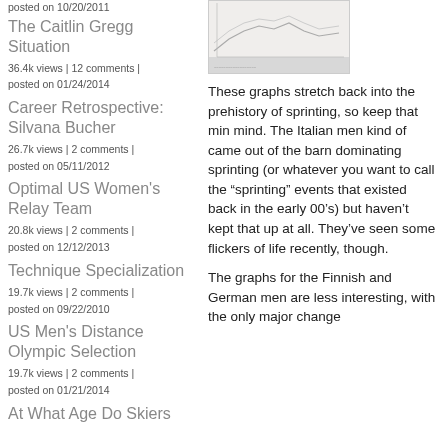posted on 10/20/2011
The Caitlin Gregg Situation
36.4k views | 12 comments | posted on 01/24/2014
Career Retrospective: Silvana Bucher
26.7k views | 2 comments | posted on 05/11/2012
Optimal US Women's Relay Team
20.8k views | 2 comments | posted on 12/12/2013
Technique Specialization
19.7k views | 2 comments | posted on 09/22/2010
US Men's Distance Olympic Selection
19.7k views | 2 comments | posted on 01/21/2014
At What Age Do Skiers
[Figure (other): A small line chart showing ski sprinting historical data]
These graphs stretch back into the prehistory of sprinting, so keep that min mind. The Italian men kind of came out of the barn dominating sprinting (or whatever you want to call the “sprinting” events that existed back in the early 00’s) but haven’t kept that up at all. They’ve seen some flickers of life recently, though.
The graphs for the Finnish and German men are less interesting, with the only major change